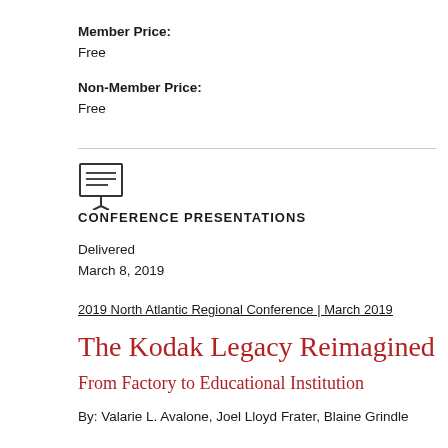Member Price:
Free
Non-Member Price:
Free
[Figure (illustration): Presentation board / easel icon with lines indicating text on board]
CONFERENCE PRESENTATIONS
Delivered
March 8, 2019
2019 North Atlantic Regional Conference | March 2019
The Kodak Legacy Reimagined
From Factory to Educational Institution
By: Valarie L. Avalone, Joel Lloyd Frater, Blaine Grindle